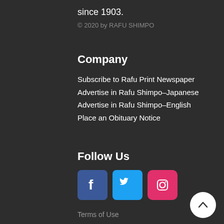since 1903.
© 2020 by RAFU SHIMPO
Company
Subscribe to Rafu Print Newspaper
Advertise in Rafu Shimpo–Japanese
Advertise in Rafu Shimpo–English
Place an Obituary Notice
Follow Us
[Figure (logo): Facebook, Twitter, and Instagram social media icon buttons]
Terms of Use
Privacy Policy
Cancellation Policy